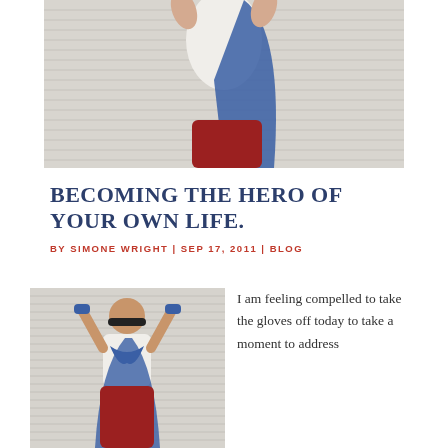[Figure (photo): Child dressed as superhero with cape raised arms, cropped top portion showing torso and cape]
BECOMING THE HERO OF YOUR OWN LIFE.
BY SIMONE WRIGHT | SEP 17, 2011 | BLOG
[Figure (photo): Child dressed as superhero with blue cape and mask, arms raised showing back, red pants]
I am feeling compelled to take the gloves off today to take a moment to address